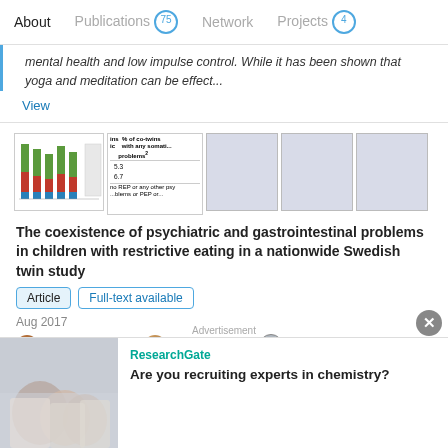About  |  Publications 75  |  Network  |  Projects 4
...mental health and low impulse control. While it has been shown that yoga and meditation can be effect...
View
[Figure (bar-chart): Thumbnail of a stacked bar chart with green, red, and blue bars]
[Figure (table-as-image): Thumbnail of a data table showing % of co-twins with any somatic problems, values 5.3 and 6.7]
[Figure (other): Gray placeholder thumbnail]
[Figure (other): Gray placeholder thumbnail]
[Figure (other): Gray placeholder thumbnail]
The coexistence of psychiatric and gastrointestinal problems in children with restrictive eating in a nationwide Swedish twin study
Article  |  Full-text available
Aug 2017
Jakob Täljemark · Maria Rastam · Paul Lichtenstein · [...]
Advertisement
ResearchGate
Are you recruiting experts in chemistry?